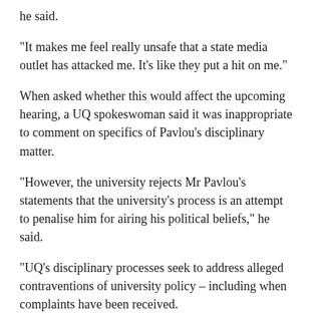he said.
"It makes me feel really unsafe that a state media outlet has attacked me. It’s like they put a hit on me."
When asked whether this would affect the upcoming hearing, a UQ spokeswoman said it was inappropriate to comment on specifics of Pavlou's disciplinary matter.
"However, the university rejects Mr Pavlou’s statements that the university’s process is an attempt to penalise him for airing his political beliefs," he said.
"UQ’s disciplinary processes seek to address alleged contraventions of university policy – including when complaints have been received.
"They do not seek to prevent students from expressing their views or to limit their right to freedom of speech."